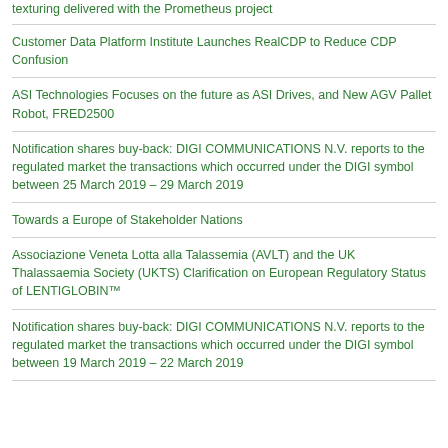texturing delivered with the Prometheus project
Customer Data Platform Institute Launches RealCDP to Reduce CDP Confusion
ASI Technologies Focuses on the future as ASI Drives, and New AGV Pallet Robot, FRED2500
Notification shares buy-back: DIGI COMMUNICATIONS N.V. reports to the regulated market the transactions which occurred under the DIGI symbol between 25 March 2019 – 29 March 2019
Towards a Europe of Stakeholder Nations
Associazione Veneta Lotta alla Talassemia (AVLT) and the UK Thalassaemia Society (UKTS) Clarification on European Regulatory Status of LENTIGLOBIN™
Notification shares buy-back: DIGI COMMUNICATIONS N.V. reports to the regulated market the transactions which occurred under the DIGI symbol between 19 March 2019 – 22 March 2019